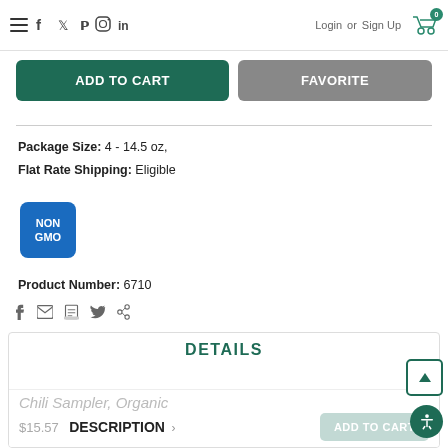≡  f  twitter  pinterest  instagram  in  Login or Sign Up  🛒 0
ADD TO CART   FAVORITE
Package Size: 4 - 14.5 oz,
Flat Rate Shipping: Eligible
[Figure (logo): NON GMO blue badge logo]
Product Number: 6710
Share icons: facebook, email, print, twitter, pinterest
DETAILS
Chili Sampler, Organic
DESCRIPTION >   ADD TO CART